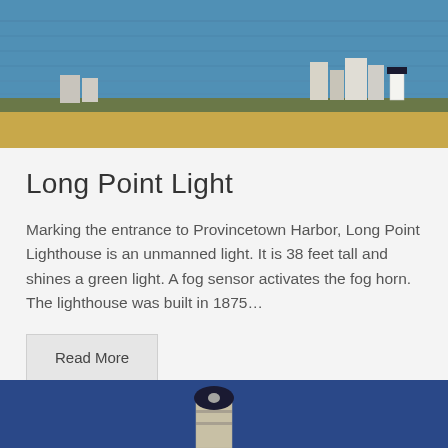[Figure (photo): Aerial/distant view of Provincetown Harbor beach with water in the foreground, sandy beach and dunes in the middle ground, and buildings including a small lighthouse visible in the background]
Long Point Light
Marking the entrance to Provincetown Harbor, Long Point Lighthouse is an unmanned light. It is 38 feet tall and shines a green light. A fog sensor activates the fog horn. The lighthouse was built in 1875…
Read More
[Figure (photo): Close-up photograph of a lighthouse structure against a bright blue sky, showing the lantern room and upper portion of the lighthouse tower]